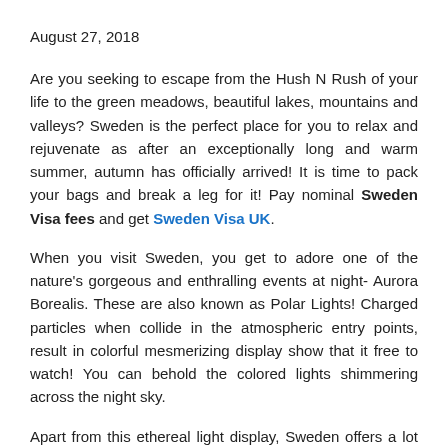August 27, 2018
Are you seeking to escape from the Hush N Rush of your life to the green meadows, beautiful lakes, mountains and valleys? Sweden is the perfect place for you to relax and rejuvenate as after an exceptionally long and warm summer, autumn has officially arrived! It is time to pack your bags and break a leg for it! Pay nominal Sweden Visa fees and get Sweden Visa UK.
When you visit Sweden, you get to adore one of the nature's gorgeous and enthralling events at night- Aurora Borealis. These are also known as Polar Lights! Charged particles when collide in the atmospheric entry points, result in colorful mesmerizing display show that it free to watch! You can behold the colored lights shimmering across the night sky.
Apart from this ethereal light display, Sweden offers a lot that a travel enthusiast desires!
Here are some of the top tourist attractions that you don't want to miss while in Sweden:
Stockholm: The Capital of Sweden, Stockholm is cultural, economic and political centre of this country! Stockholm is famed